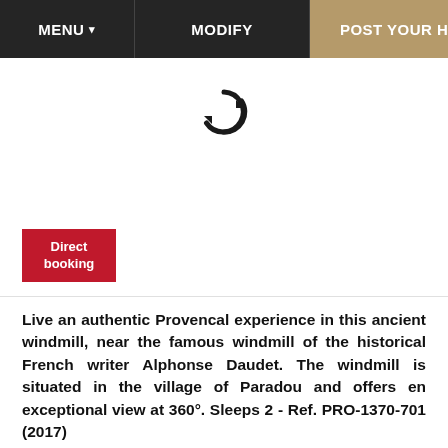MENU ▾   MODIFY   POST YOUR HOME
[Figure (screenshot): Loading spinner icon (circular arrows) on white background with a Direct booking red badge at bottom left]
Direct booking
Live an authentic Provencal experience in this ancient windmill, near the famous windmill of the historical French writer Alphonse Daudet. The windmill is situated in the village of Paradou and offers en exceptional view at 360°. Sleeps 2 - Ref. PRO-1370-701 (2017)
This ancient windmill is wonderfully renovated and tastefully decorated. Ideal for a romantic stay for 2